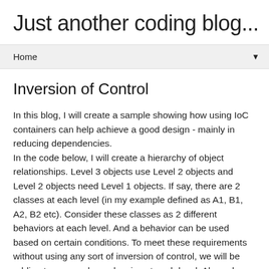Just another coding blog...
Home
Inversion of Control
In this blog, I will create a sample showing how using IoC containers can help achieve a good design - mainly in reducing dependencies.
In the code below, I will create a hierarchy of object relationships. Level 3 objects use Level 2 objects and Level 2 objects need Level 1 objects. If say, there are 2 classes at each level (in my example defined as A1, B1, A2, B2 etc). Consider these classes as 2 different behaviors at each level. And a behavior can be used based on certain conditions. To meet these requirements without using any sort of inversion of control, we will be adding too many dependencies at each level. Also, when a new behavior is